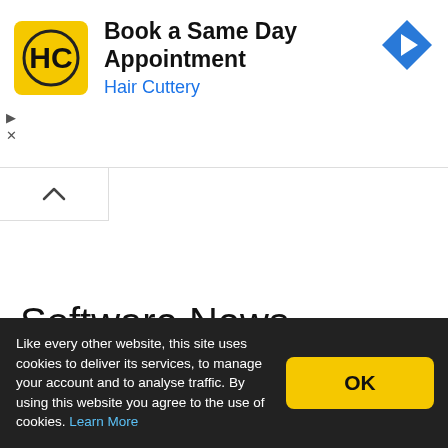[Figure (screenshot): Advertisement banner for Hair Cuttery with yellow logo, text 'Book a Same Day Appointment', blue 'Hair Cuttery' subtitle, and a blue diamond-shaped arrow icon on the right.]
[Figure (screenshot): Collapse/chevron-up tab UI element at bottom of ad banner area.]
Software News
[Figure (logo): Blue square logo icon for a news/software site, with a stylized RSS-like symbol.]
EaseUS Todo PC Trans 8.0 adds support
Like every other website, this site uses cookies to deliver its services, to manage your account and to analyse traffic. By using this website you agree to the use of cookies. Learn More